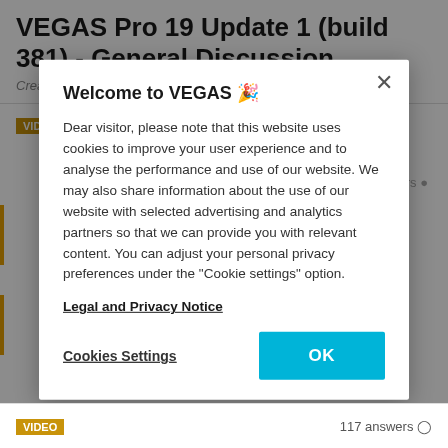VEGAS Pro 19 Update 1 (build 381) - General Discussion
Created on 9/29/2021 by VEGAS_CommunityManager
[Figure (screenshot): VIDEO badge and 119 answers indicator in background]
Welcome to VEGAS 🎉
Dear visitor, please note that this website uses cookies to improve your user experience and to analyse the performance and use of our website. We may also share information about the use of our website with selected advertising and analytics partners so that we can provide you with relevant content. You can adjust your personal privacy preferences under the "Cookie settings" option.
Legal and Privacy Notice
Cookies Settings
OK
VIDEO   117 answers